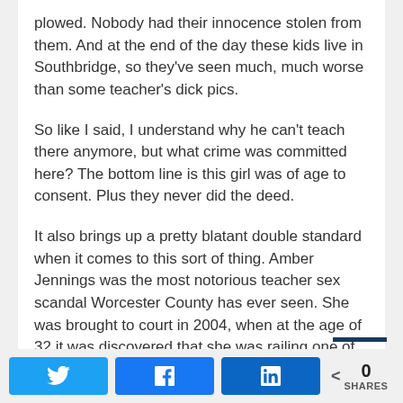plowed. Nobody had their innocence stolen from them. And at the end of the day these kids live in Southbridge, so they've seen much, much worse than some teacher's dick pics.
So like I said, I understand why he can't teach there anymore, but what crime was committed here? The bottom line is this girl was of age to consent. Plus they never did the deed.
It also brings up a pretty blatant double standard when it comes to this sort of thing. Amber Jennings was the most notorious teacher sex scandal Worcester County has ever seen. She was brought to court in 2004, when at the age of 32 it was discovered that she was railing one of her [cut off]
Twitter | Facebook | LinkedIn | 0 SHARES